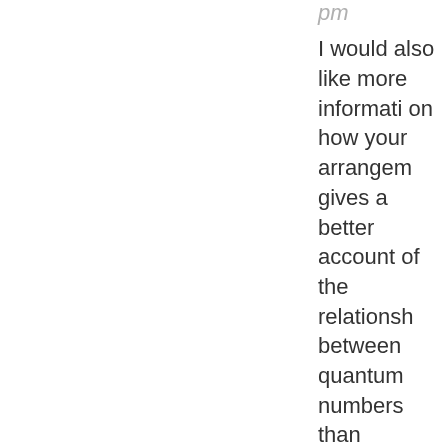pm
I would also like more information on how your arrangement gives a better account of the relationship between quantum numbers than